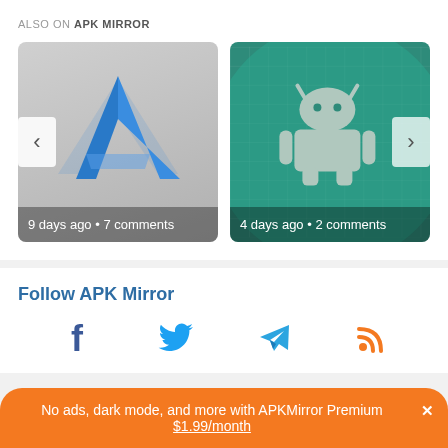ALSO ON APK MIRROR
[Figure (screenshot): Two app cards in a carousel. Left card shows a blue chevron/A logo on gray gradient background with text '9 days ago • 7 comments'. Right card shows Android robot logo on teal/green background with grid pattern, text '4 days ago • 2 comments'. Navigation arrows on left and right sides.]
Follow APK Mirror
[Figure (infographic): Four social media icons: Facebook (f), Twitter bird, Telegram paper plane, RSS feed icon in orange]
No ads, dark mode, and more with APKMirror Premium ✕
$1.99/month